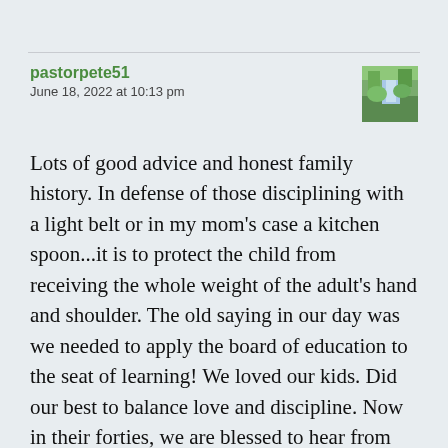pastorpete51
June 18, 2022 at 10:13 pm
[Figure (photo): Small thumbnail avatar image showing a waterfall or nature scene with green foliage]
Lots of good advice and honest family history. In defense of those disciplining with a light belt or in my mom's case a kitchen spoon...it is to protect the child from receiving the whole weight of the adult's hand and shoulder. The old saying in our day was we needed to apply the board of education to the seat of learning! We loved our kids. Did our best to balance love and discipline. Now in their forties, we are blessed to hear from them on the phone almost daily and to visit as much as we can despite the many miles we are separated. Many blessings to you and your family also!